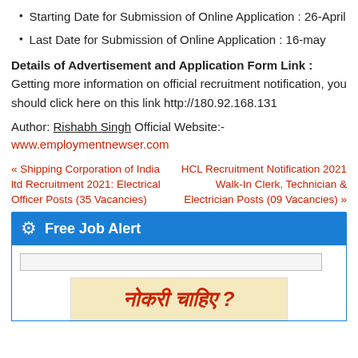Starting Date for Submission of Online Application : 26-April
Last Date for Submission of Online Application : 16-may
Details of Advertisement and Application Form Link : Getting more information on official recruitment notification, you should click here on this link http://180.92.168.131
Author: Rishabh Singh Official Website:- www.employmentnewser.com
« Shipping Corporation of India ltd Recruitment 2021: Electrical Officer Posts (35 Vacancies)
HCL Recruitment Notification 2021 Walk-In Clerk, Technician & Electrician Posts (09 Vacancies) »
Free Job Alert
[Figure (illustration): Hindi text banner reading 'नोकरी चाहिए ?' in red italic bold on a beige background]